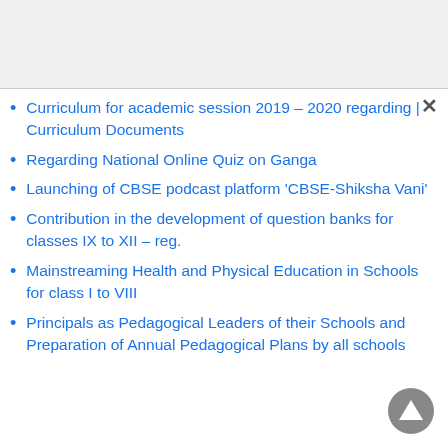Curriculum for academic session 2019 – 2020 regarding | Curriculum Documents
Regarding National Online Quiz on Ganga
Launching of CBSE podcast platform 'CBSE-Shiksha Vani'
Contribution in the development of question banks for classes IX to XII – reg.
Mainstreaming Health and Physical Education in Schools for class I to VIII
Principals as Pedagogical Leaders of their Schools and Preparation of Annual Pedagogical Plans by all schools